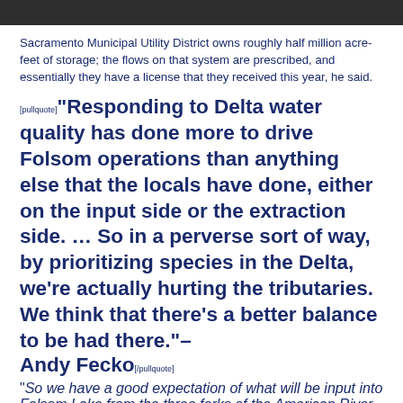Sacramento Municipal Utility District owns roughly half million acre-feet of storage; the flows on that system are prescribed, and essentially they have a license that they received this year, he said.
[pullquote]“Responding to Delta water quality has done more to drive Folsom operations than anything else that the locals have done, either on the input side or the extraction side. … So in a perverse sort of way, by prioritizing species in the Delta, we’re actually hurting the tributaries. We think that there’s a better balance to be had there.”– Andy Fecko[/pullquote]
“So we have a good expectation of what will be input into Folsom Lake from the three forks of the American River on any given year, from the very driest to the very wettest,” he said.